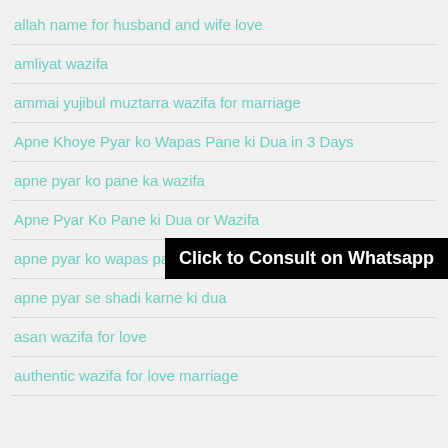allah name for husband and wife love
amliyat wazifa
ammai yujibul muztarra wazifa for marriage
Apne Khoye Pyar ko Wapas Pane ki Dua in 3 Days
apne pyar ko pane ka wazifa
[Figure (other): Black banner with white bold text: Click to Consult on Whatsapp]
Apne Pyar Ko Pane ki Dua or Wazifa
apne pyar ko wapas pane ki dua
apne pyar se shadi karne ki dua
asan wazifa for love
authentic wazifa for love marriage